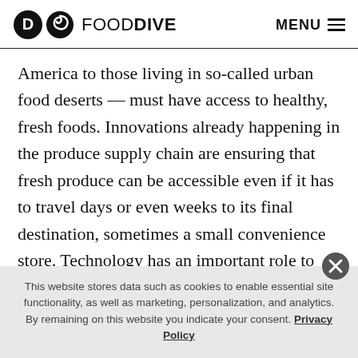FOOD DIVE   MENU
America to those living in so-called urban food deserts — must have access to healthy, fresh foods. Innovations already happening in the produce supply chain are ensuring that fresh produce can be accessible even if it has to travel days or even weeks to its final destination, sometimes a small convenience store. Technology has an important role to play in making healthy fruits and vegetables more “available” by making them more convenient, longer lasting, and better tasting.
This website stores data such as cookies to enable essential site functionality, as well as marketing, personalization, and analytics. By remaining on this website you indicate your consent. Privacy Policy